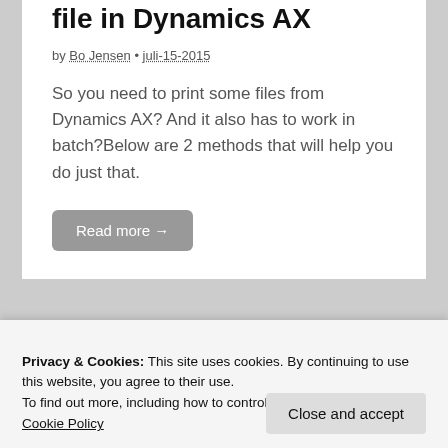file in Dynamics AX
by Bo Jensen • juli-15-2015
So you need to print some files from Dynamics AX? And it also has to work in batch?Below are 2 methods that will help you do just that.
Read more →
MICROSOFT DYNAMICS AX
Import Label files ( ALD )
Privacy & Cookies: This site uses cookies. By continuing to use this website, you agree to their use.
To find out more, including how to control cookies, see here:
Cookie Policy
Close and accept
languages into AX 2012, you can use the script